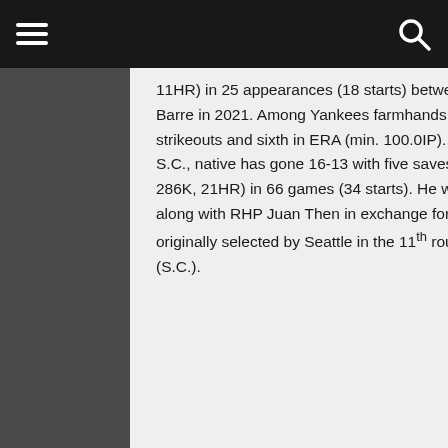≡  🔍
11HR) in 25 appearances (18 starts) between Double-A Somerset and Triple-A Scranton/Wilkes-Barre in 2021. Among Yankees farmhands, the left-handed pitcher ranked second in wins, third in strikeouts and sixth in ERA (min. 100.0IP). In four minor league seasons (2017-19, '21), the Sumter, S.C., native has gone 16-13 with five saves and a 3.07 ERA (234.1IP, 178H, 91R/80ER, 68BB, 286K, 21HR) in 66 games (34 starts). He was acquired by the Yankees from the Seattle Mariners along with RHP Juan Then in exchange for RHP Nick Rumbelow on November 18, 2017. He was originally selected by Seattle in the 11th round of the 2017 First-Year Player Draft out of The Citadel (S.C.).